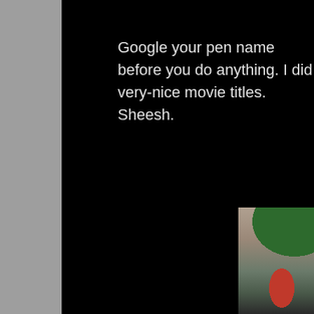Google your pen name before you do anything. I did very-nice movie titles. Sheesh.
[Figure (photo): Partial outdoor photo showing a person in a red jacket, rocks, and green trees in background]